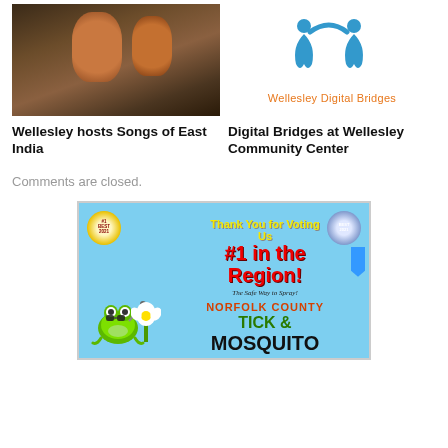[Figure (photo): Photo of Indian music performers at a venue, two men in orange attire seated with a microphone and instruments]
Wellesley hosts Songs of East India
[Figure (logo): Wellesley Digital Bridges logo — two stylized blue human figures forming an arch shape with orange text 'Wellesley Digital Bridges' below]
Digital Bridges at Wellesley Community Center
Comments are closed.
[Figure (infographic): Advertisement for Norfolk County Tick & Mosquito with light blue background. Text reads 'Thank You for Voting Us #1 in the Region! The Safe Way to Spray! NORFOLK COUNTY TICK & MOSQUITO'. Features a cartoon frog mascot, badges, and a blue ribbon award.]